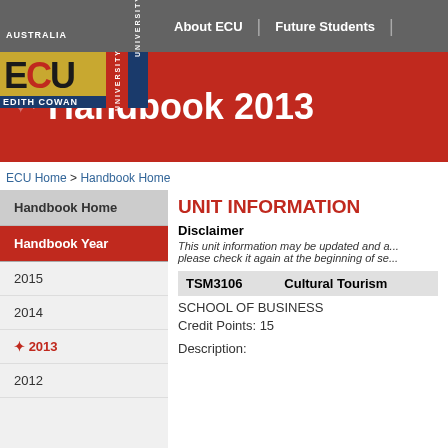[Figure (logo): Edith Cowan University (ECU) logo with blue, gold, and red colors]
About ECU | Future Students
Handbook 2013
ECU Home > Handbook Home
Handbook Home
Handbook Year
2015
2014
2013
2012
UNIT INFORMATION
Disclaimer
This unit information may be updated and a... please check it again at the beginning of se...
| TSM3106 | Cultural Tourism |
| --- | --- |
SCHOOL OF BUSINESS
Credit Points: 15
Description: